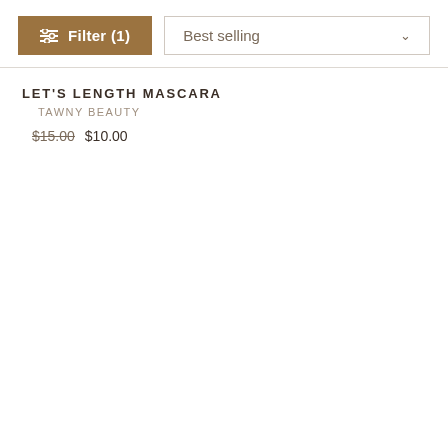[Figure (screenshot): Filter button with slider icon showing Filter (1) in brown/tawny background]
Best selling
LET'S LENGTH MASCARA
TAWNY BEAUTY
$15.00  $10.00